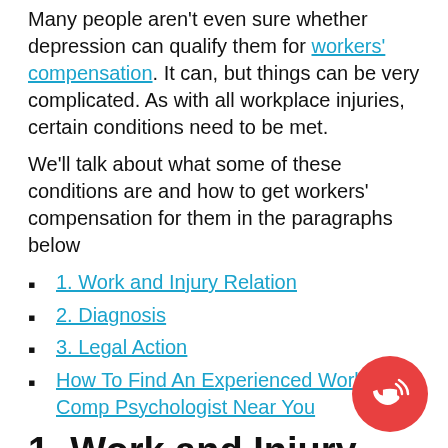Many people aren't even sure whether depression can qualify them for workers' compensation. It can, but things can be very complicated. As with all workplace injuries, certain conditions need to be met.
We'll talk about what some of these conditions are and how to get workers' compensation for them in the paragraphs below
1. Work and Injury Relation
2. Diagnosis
3. Legal Action
How To Find An Experienced Workers' Comp Psychologist Near You
1. Work and Injury Relation
[Figure (illustration): Red circular phone button with a phone handset icon and signal waves, positioned bottom-right corner]